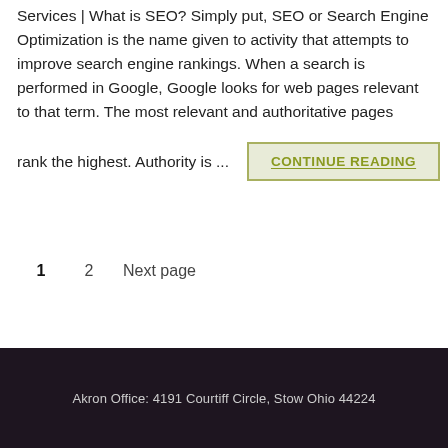Services | What is SEO? Simply put, SEO or Search Engine Optimization is the name given to activity that attempts to improve search engine rankings. When a search is performed in Google, Google looks for web pages relevant to that term. The most relevant and authoritative pages rank the highest. Authority is ...
CONTINUE READING
1
2
Next page
Akron Office: 4191 Courtiff Circle, Stow Ohio 44224